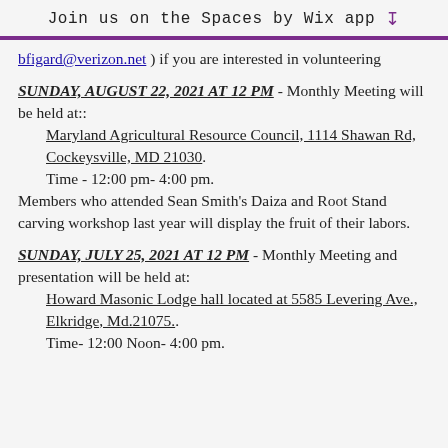Join us on the Spaces by Wix app
bfigard@verizon.net ) if you are interested in volunteering
SUNDAY, AUGUST 22, 2021 AT 12 PM - Monthly Meeting will be held at:: Maryland Agricultural Resource Council, 1114 Shawan Rd, Cockeysville, MD 21030. Time - 12:00 pm- 4:00 pm. Members who attended Sean Smith's Daiza and Root Stand carving workshop last year will display the fruit of their labors.
SUNDAY, JULY 25, 2021 AT 12 PM - Monthly Meeting and presentation will be held at: Howard Masonic Lodge hall located at 5585 Levering Ave., Elkridge, Md.21075.. Time- 12:00 Noon- 4:00 pm.